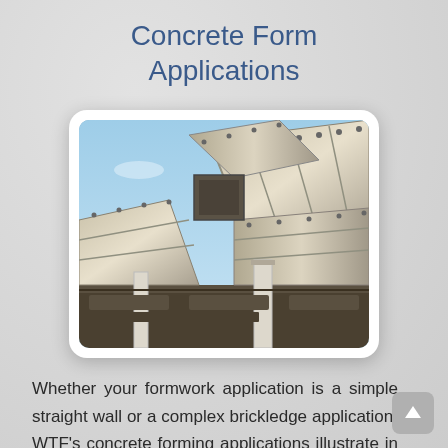Concrete Form Applications
[Figure (photo): Photograph of metal concrete formwork panels assembled at a construction site, shot from below against a blue sky.]
Whether your formwork application is a simple straight wall or a complex brickledge application, WTF's concrete forming applications illustrate in detail multiple ways our products can be used.